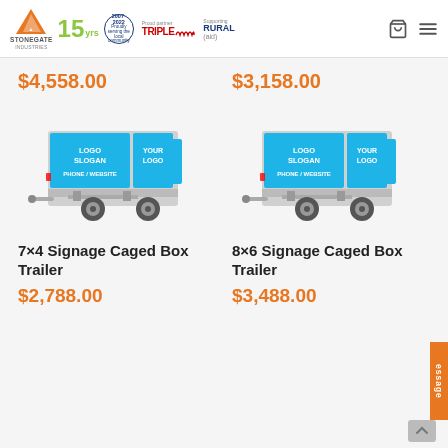Stonegate Industries — 15 yrs 2007-2022 Proudly serving the local community — Proud partner Triple M — Supporting Rural Aid
$4,558.00
$3,158.00
[Figure (photo): 7x4 Signage Caged Box Trailer with blue LED signage panels showing LOGO SLOGAN, YOUR LOGO, PHONE/WEBSITE text]
[Figure (photo): 8x6 Signage Caged Box Trailer with blue LED signage panels showing LOGO SLOGAN, YOUR LOGO, PHONE/WEBSITE text]
7×4 Signage Caged Box Trailer
8×6 Signage Caged Box Trailer
$2,788.00
$3,488.00